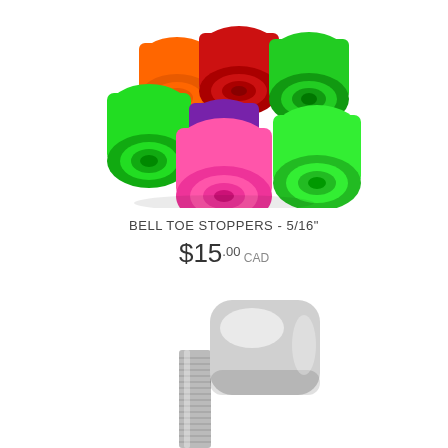[Figure (photo): Group of colorful bell toe stoppers in neon green, orange, red, pink, and purple colors, cylindrical rubber stoppers with concentric ring details on ends, arranged in a pile on white background]
BELL TOE STOPPERS - 5/16"
$15.00 CAD
[Figure (photo): Silver metallic toe stop with threaded bolt/stem, chrome finish, showing the stopper cap and screw thread on white background, partially cropped at bottom of page]